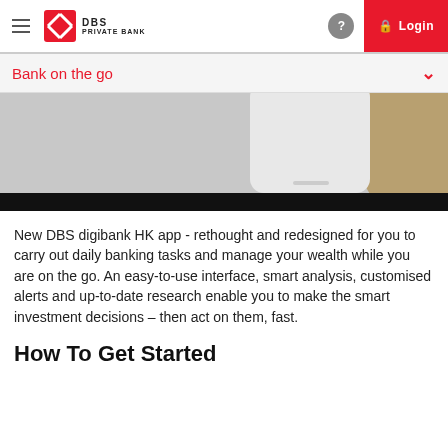DBS PRIVATE BANK — Login
Bank on the go
[Figure (photo): Partial view of a mobile phone screen showing a banking app interface, with gold/tan background panel on the right side and a black strip at bottom.]
New DBS digibank HK app - rethought and redesigned for you to carry out daily banking tasks and manage your wealth while you are on the go. An easy-to-use interface, smart analysis, customised alerts and up-to-date research enable you to make the smart investment decisions – then act on them, fast.
How To Get Started